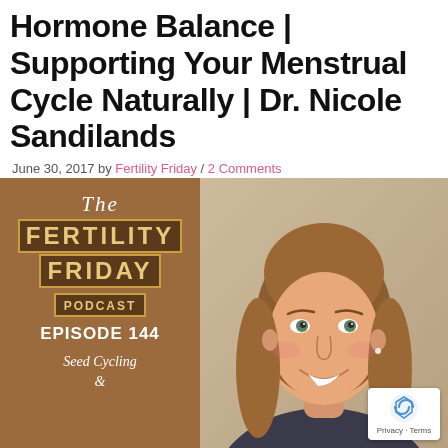Hormone Balance | Supporting Your Menstrual Cycle Naturally | Dr. Nicole Sandilands
June 30, 2017 by Fertility Friday / 2 Comments
[Figure (photo): Fertility Friday Podcast Episode 144 promotional image showing the podcast logo on a brown background on the left, and a professional headshot of a smiling woman with brown hair on the right. Text on left panel reads: The FERTILITY FRIDAY PODCAST EPISODE 144 Seed Cycling &]